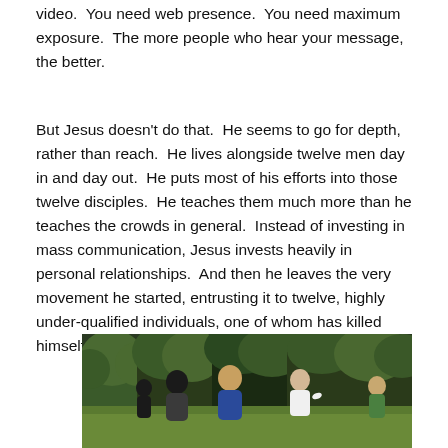video.  You need web presence.  You need maximum exposure.  The more people who hear your message, the better.
But Jesus doesn't do that.  He seems to go for depth, rather than reach.  He lives alongside twelve men day in and day out.  He puts most of his efforts into those twelve disciples.  He teaches them much more than he teaches the crowds in general.  Instead of investing in mass communication, Jesus invests heavily in personal relationships.  And then he leaves the very movement he started, entrusting it to twelve, highly under-qualified individuals, one of whom has killed himself.
[Figure (photo): Outdoor photo of men playing sport (frisbee or similar) on a grass field with trees in the background. Multiple figures visible, one in blue, one in white, one in green, one in dark clothing.]